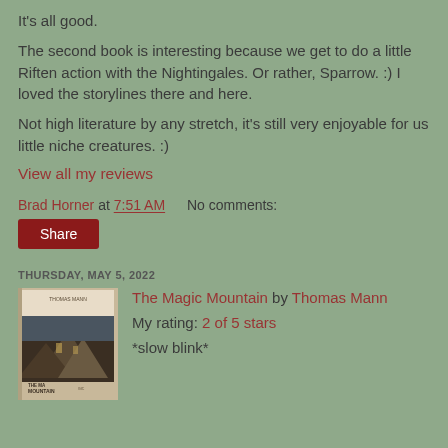It's all good.
The second book is interesting because we get to do a little Riften action with the Nightingales. Or rather, Sparrow. :) I loved the storylines there and here.
Not high literature by any stretch, it's still very enjoyable for us little niche creatures. :)
View all my reviews
Brad Horner at 7:51 AM    No comments:
Share
THURSDAY, MAY 5, 2022
[Figure (illustration): Book cover of The Magic Mountain by Thomas Mann, showing a dark mountainous landscape with architectural elements and text.]
The Magic Mountain by Thomas Mann My rating: 2 of 5 stars
*slow blink*